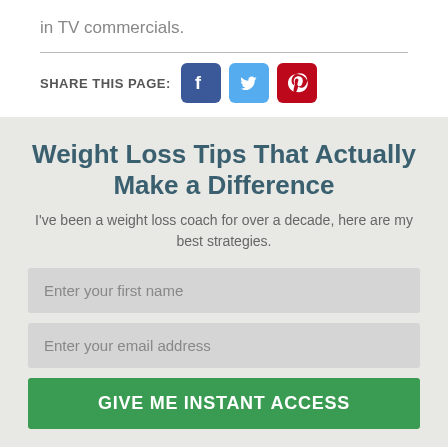in TV commercials.
[Figure (infographic): Social sharing icons: Facebook (blue), Twitter (light blue), Pinterest (red), with label SHARE THIS PAGE:]
Weight Loss Tips That Actually Make a Difference
I've been a weight loss coach for over a decade, here are my best strategies.
Enter your first name
Enter your email address
GIVE ME INSTANT ACCESS